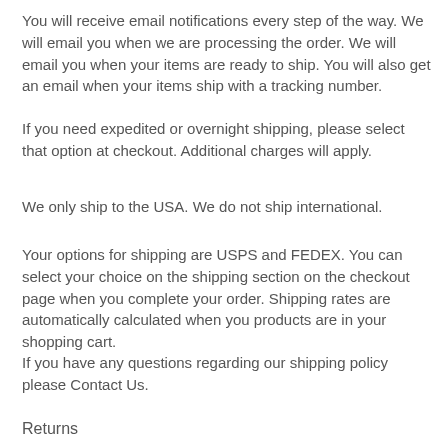You will receive email notifications every step of the way. We will email you when we are processing the order. We will email you when your items are ready to ship. You will also get an email when your items ship with a tracking number.
If you need expedited or overnight shipping, please select that option at checkout. Additional charges will apply.
We only ship to the USA. We do not ship international.
Your options for shipping are USPS and FEDEX. You can select your choice on the shipping section on the checkout page when you complete your order. Shipping rates are automatically calculated when you products are in your shopping cart.
If you have any questions regarding our shipping policy please Contact Us.
Returns